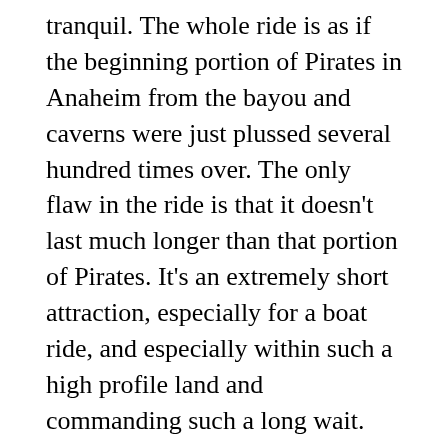tranquil. The whole ride is as if the beginning portion of Pirates in Anaheim from the bayou and caverns were just plussed several hundred times over. The only flaw in the ride is that it doesn't last much longer than that portion of Pirates. It's an extremely short attraction, especially for a boat ride, and especially within such a high profile land and commanding such a long wait. Perhaps, once the land is less new and crowds balance out with the rest of the park the wait to ride ratio will improve, but for now it's going to be a problem. There were audible groans of disappointment upon the realization that that's all there was. But to the ride's credit, they're not the kind of groans of feeling cheated, but of thoroughly enjoying a